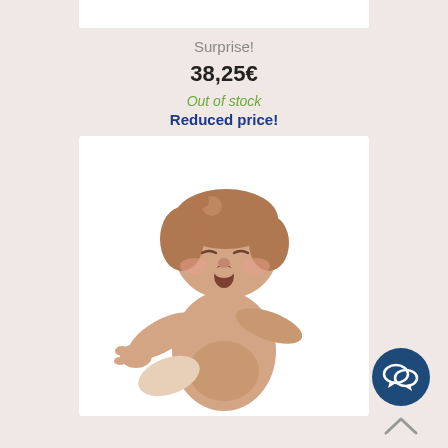[Figure (photo): White background strip at top of product card]
Surprise!
38,25€
Out of stock
Reduced price!
[Figure (photo): Ceramic angel figurine with outstretched arms and open mouth, singing or expressing surprise, on white background]
[Figure (illustration): Dark blue circular chat/message icon button in bottom right corner]
[Figure (illustration): Upward chevron/arrow scroll-to-top button below chat icon]